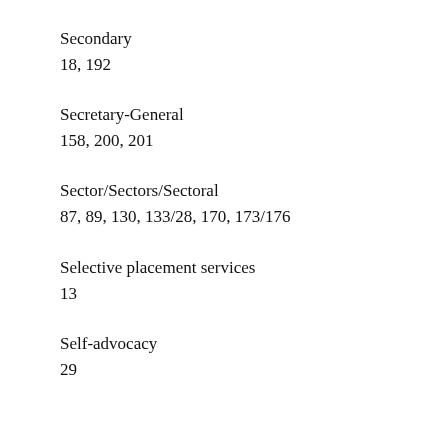Secondary
18, 192
Secretary-General
158, 200, 201
Sector/Sectors/Sectoral
87, 89, 130, 133/28, 170, 173/176
Selective placement services
13
Self-advocacy
29